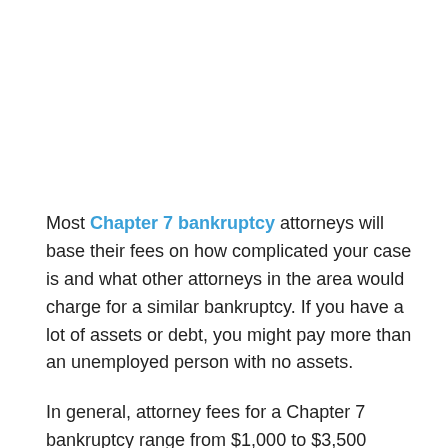Most Chapter 7 bankruptcy attorneys will base their fees on how complicated your case is and what other attorneys in the area would charge for a similar bankruptcy. If you have a lot of assets or debt, you might pay more than an unemployed person with no assets.
In general, attorney fees for a Chapter 7 bankruptcy range from $1,000 to $3,500 depending on the complexity of the case. Larger firms with more advertising and overhead costs sometimes charge more than a solo practitioner, but not